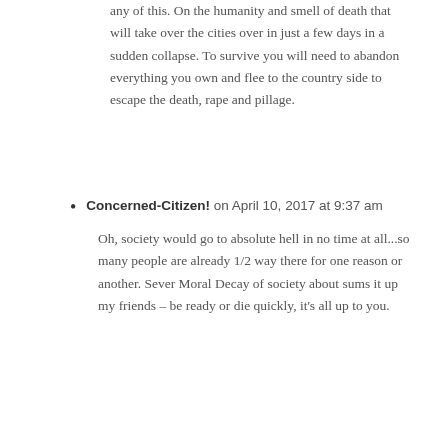any of this. On the humanity and smell of death that will take over the cities over in just a few days in a sudden collapse. To survive you will need to abandon everything you own and flee to the country side to escape the death, rape and pillage.
Concerned-Citizen! on April 10, 2017 at 9:37 am

Oh, society would go to absolute hell in no time at all...so many people are already 1/2 way there for one reason or another. Sever Moral Decay of society about sums it up my friends – be ready or die quickly, it's all up to you.